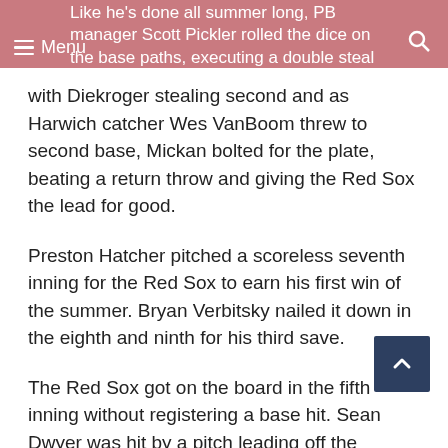Like he's done all summer long, PB manager Scott Pickler rolled the dice on the base paths, executing a double steal — Menu
with Diekroger stealing second and as Harwich catcher Wes VanBoom threw to second base, Mickan bolted for the plate, beating a return throw and giving the Red Sox the lead for good.
Preston Hatcher pitched a scoreless seventh inning for the Red Sox to earn his first win of the summer. Bryan Verbitsky nailed it down in the eighth and ninth for his third save.
The Red Sox got on the board in the fifth inning without registering a base hit. Sean Dwyer was hit by a pitch leading off the